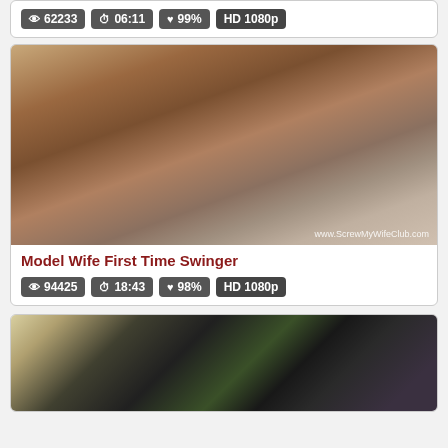62233  06:11  99%  HD 1080p
[Figure (photo): Video thumbnail showing adult content with watermark www.ScrewMyWifeClub.com]
Model Wife First Time Swinger
94425  18:43  98%  HD 1080p
[Figure (photo): Partial video thumbnail showing adult content, lower portion of page]